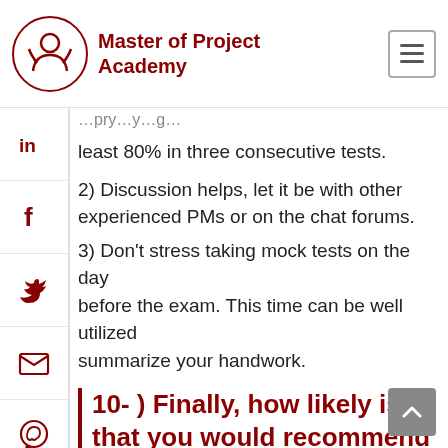Master of Project Academy
least 80% in three consecutive tests.
2) Discussion helps, let it be with other experienced PMs or on the chat forums.
3) Don't stress taking mock tests on the day before the exam. This time can be well utilized summarize your handwork.
10- ) Finally, how likely is it that you would recommend Master of Project Academy to a friend or colleague?
With my positive result in the exam, swiftness of use and prompt response from experts when